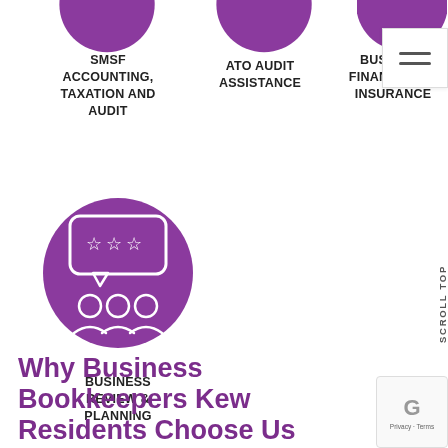[Figure (illustration): Partial purple circle icon at top-left, cropped at top edge]
SMSF ACCOUNTING, TAXATION AND AUDIT
[Figure (illustration): Partial purple circle icon at top-center, cropped at top edge]
ATO AUDIT ASSISTANCE
[Figure (illustration): Partial purple circle icon at top-right, cropped at top edge]
BUSINESS FINANCE AND INSURANCE
[Figure (illustration): Full purple circle icon with review/planning (stars speech bubble and group of people) graphic]
BUSINESS REVIEW & PLANNING
Why Business Bookkeepers Kew Residents Choose Us